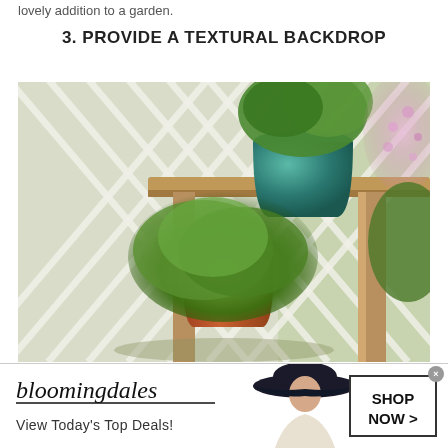lovely addition to a garden.
3. PROVIDE A TEXTURAL BACKDROP
[Figure (photo): Garden scene showing a white diagonal lattice fence backdrop with potted plants on a rustic wooden shelf. A teal glazed ceramic pot holds green foliage on top, and a terra-cotta pot holds a bushy green herb plant below on the shelf.]
[Figure (photo): Bloomingdale's advertisement banner featuring the store logo, tagline 'View Today's Top Deals!', a model wearing a wide-brim black hat, and a 'SHOP NOW >' call-to-action button.]